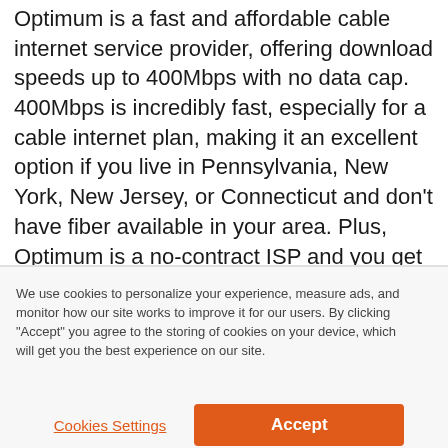Optimum is a fast and affordable cable internet service provider, offering download speeds up to 400Mbps with no data cap. 400Mbps is incredibly fast, especially for a cable internet plan, making it an excellent option if you live in Pennsylvania, New York, New Jersey, or Connecticut and don't have fiber available in your area. Plus, Optimum is a no-contract ISP and you get a price lock for 1 year before your cost goes up.
We use cookies to personalize your experience, measure ads, and monitor how our site works to improve it for our users. By clicking "Accept" you agree to the storing of cookies on your device, which will get you the best experience on our site.
Cookies Settings
Accept